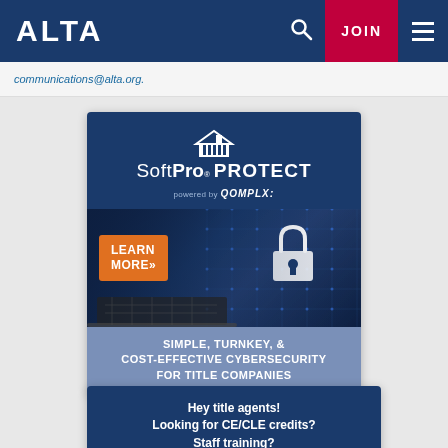ALTA  [search icon]  JOIN  [menu icon]
communications@alta.org.
[Figure (infographic): SoftPro Protect powered by QOMPLX advertisement banner. Dark navy background with product logo at top. Photo section shows laptop with cybersecurity padlock graphic and a 'LEARN MORE>>' orange button. Bottom section reads: SIMPLE, TURNKEY, & COST-EFFECTIVE CYBERSECURITY FOR TITLE COMPANIES]
[Figure (infographic): ALTA advertisement banner with dark navy background. Text reads: Hey title agents! Looking for CE/CLE credits? Staff training?]